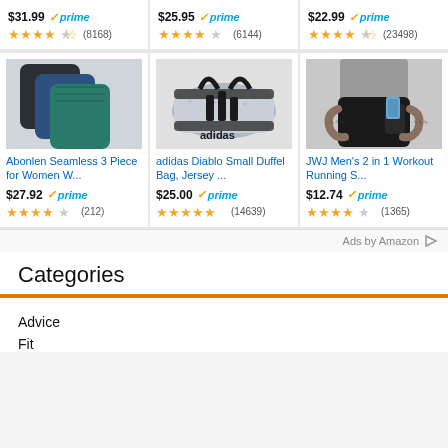$31.99 prime (8168)
$25.95 prime (6144)
$22.99 prime (23498)
[Figure (photo): Three athletic shorts/compression shorts in dark navy, blue, and teal colors]
Abonlen Seamless 3 Piece for Women W...
$27.92 prime (212)
[Figure (photo): Adidas Diablo small duffel bag in grey jersey material with black Adidas logo]
adidas Diablo Small Duffel Bag, Jersey ...
$25.00 prime (14639)
[Figure (photo): Man wearing black 2-in-1 workout running shorts, putting a blue phone in the inner pocket]
JWJ Men's 2 in 1 Workout Running S...
$12.74 prime (1365)
Ads by Amazon
Categories
Advice
Fit